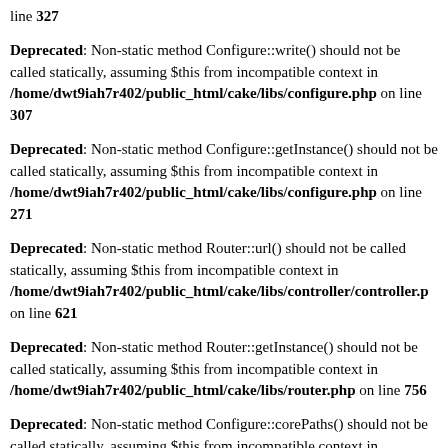line 327
Deprecated: Non-static method Configure::write() should not be called statically, assuming $this from incompatible context in /home/dwt9iah7r402/public_html/cake/libs/configure.php on line 307
Deprecated: Non-static method Configure::getInstance() should not be called statically, assuming $this from incompatible context in /home/dwt9iah7r402/public_html/cake/libs/configure.php on line 271
Deprecated: Non-static method Router::url() should not be called statically, assuming $this from incompatible context in /home/dwt9iah7r402/public_html/cake/libs/controller/controller.p on line 621
Deprecated: Non-static method Router::getInstance() should not be called statically, assuming $this from incompatible context in /home/dwt9iah7r402/public_html/cake/libs/router.php on line 756
Deprecated: Non-static method Configure::corePaths() should not be called statically, assuming $this from incompatible context in /home/dwt9iah7r402/public_html/cake/libs/debugger.php on line 554